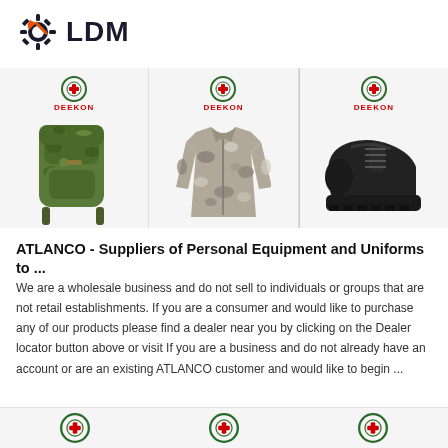[Figure (logo): LDM logo with gear icon and orange accent, dark blue bold text 'LDM']
[Figure (photo): Three product images in a strip: camouflage military backpack (left), camouflage military jacket (center), black safety shoe (right), each with DEEKON brand logo above]
ATLANCO - Suppliers of Personal Equipment and Uniforms to ...
We are a wholesale business and do not sell to individuals or groups that are not retail establishments. If you are a consumer and would like to purchase any of our products please find a dealer near you by clicking on the Dealer locator button above or visit If you are a business and do not already have an account or are an existing ATLANCO customer and would like to begin ...
[Figure (logo): Three DEEKON brand logos partially visible at bottom of page]